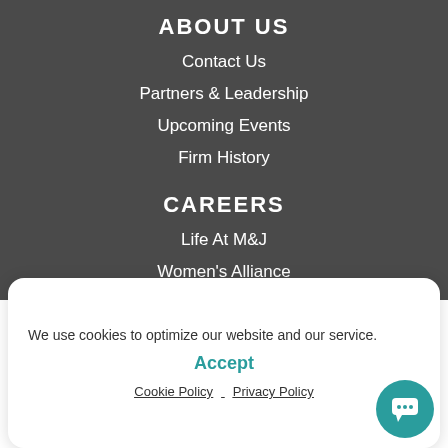ABOUT US
Contact Us
Partners & Leadership
Upcoming Events
Firm History
CAREERS
Life At M&J
Women's Alliance
We use cookies to optimize our website and our service.
Accept
Cookie Policy   Privacy Policy